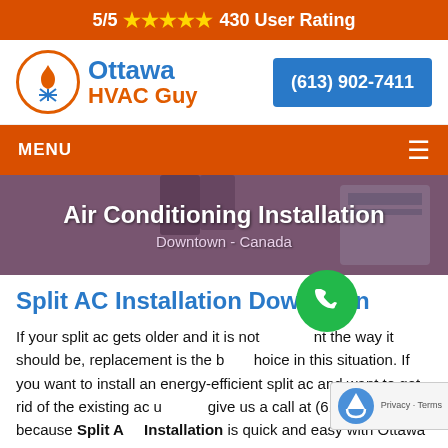5/5 ★★★★★ 430 User Rating
[Figure (logo): Ottawa HVAC Guy logo with flame and snowflake icon in orange circle, company name in blue and orange text]
(613) 902-7411
MENU ☰
[Figure (photo): Air Conditioning Installation hero image showing technician legs near AC unit with purple overlay. Title: Air Conditioning Installation, subtitle: Downtown - Canada]
Split AC Installation Downtown
If your split ac gets older and it is not working the way it should be, replacement is the best choice in this situation. If you want to install an energy-efficient split ac and want to get rid of the existing ac unit, give us a call at (613) 902-7411 because Split AC Installation is quick and easy with Ottawa HVAC Guy.